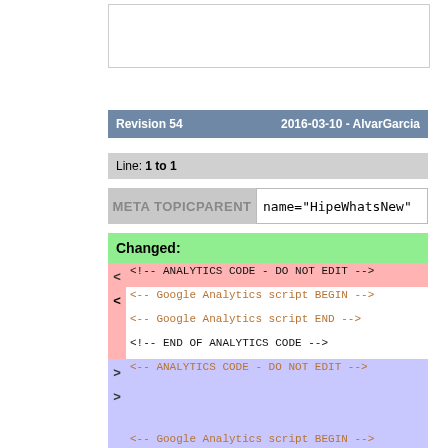Revision 54    2016-03-10 - AlvarGarcia
Line: 1 to 1
META TOPICPARENT    name="HipeWhatsNew"
Changed:
<!-- ANALYTICS CODE - DO NOT EDIT -->
<
<-- Google Analytics script BEGIN -->

<-- Google Analytics script END -->

<!-- END OF ANALYTICS CODE -->
>
<-- ANALYTICS CODE - DO NOT EDIT -->
>


<-- Google Analytics script BEGIN -->

<-- Google Analytics script END -->